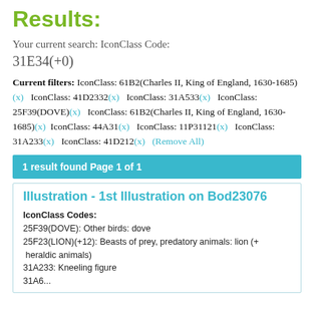Results:
Your current search: IconClass Code: 31E34(+0)
Current filters: IconClass: 61B2(Charles II, King of England, 1630-1685)(x)   IconClass: 41D2332(x)   IconClass: 31A533(x)   IconClass: 25F39(DOVE)(x)   IconClass: 61B2(Charles II, King of England, 1630-1685)(x)   IconClass: 44A31(x)   IconClass: 11P31121(x)   IconClass: 31A233(x)   IconClass: 41D212(x)   (Remove All)
1 result found Page 1 of 1
Illustration - 1st Illustration on Bod23076
IconClass Codes:
25F39(DOVE): Other birds: dove
25F23(LION)(+12): Beasts of prey, predatory animals: lion (+ heraldic animals)
31A233: Kneeling figure
31A6...